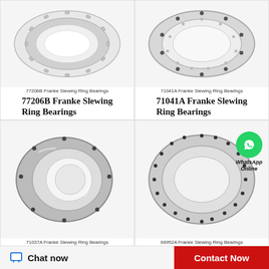[Figure (photo): 77206B Franke Slewing Ring Bearing - polished metal ring bearing, top view]
77206B Franke Slewing Ring Bearings
77206B Franke Slewing Ring Bearings
[Figure (photo): 71041A Franke Slewing Ring Bearing - large ring bearing with bolt holes, top view]
71041A Franke Slewing Ring Bearings
71041A Franke Slewing Ring Bearings
[Figure (photo): 71037A Franke Slewing Ring Bearing - large oval/ring shaped metal bearing]
71037A Franke Slewing Ring Bearings
[Figure (photo): 68952A Franke Slewing Ring Bearing - large ring bearing with bolt holes, with WhatsApp Online overlay]
68952A Franke Slewing Ring Bearings
Chat now
Contact Now